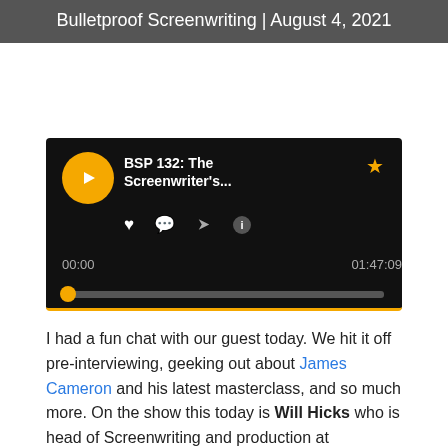Bulletproof Screenwriting | August 4, 2021
[Figure (screenshot): Podcast audio player for BSP 132: The Screenwriter's... episode, showing play button, heart/comment/share/info icons, time 00:00 / 01:47:09, progress bar, and Bulletproof Screenwriting Podcast cover art with Alex Ferrari]
I had a fun chat with our guest today. We hit it off pre-interviewing, geeking out about James Cameron and his latest masterclass, and so much more. On the show this today is Will Hicks who is head of Screenwriting and production at Colorado Film